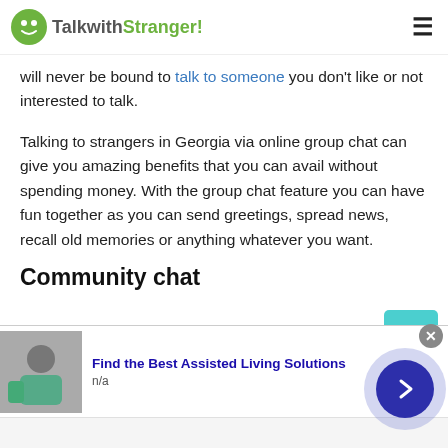TalkwithStranger!
will never be bound to talk to someone you don't like or not interested to talk.
Talking to strangers in Georgia via online group chat can give you amazing benefits that you can avail without spending money. With the group chat feature you can have fun together as you can send greetings, spread news, recall old memories or anything whatever you want.
Community chat
[Figure (other): Advertisement banner: Find the Best Assisted Living Solutions, n/a, with image of elderly person being assisted]
Find the Best Assisted Living Solutions
n/a